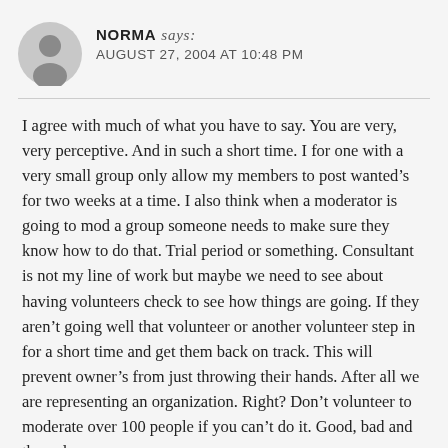NORMA says: AUGUST 27, 2004 AT 10:48 PM
I agree with much of what you have to say. You are very, very perceptive. And in such a short time. I for one with a very small group only allow my members to post wanted’s for two weeks at a time. I also think when a moderator is going to mod a group someone needs to make sure they know how to do that. Trial period or something. Consultant is not my line of work but maybe we need to see about having volunteers check to see how things are going. If they aren’t going well that volunteer or another volunteer step in for a short time and get them back on track. This will prevent owner’s from just throwing their hands. After all we are representing an organization. Right? Don’t volunteer to moderate over 100 people if you can’t do it. Good, bad and the ugly.